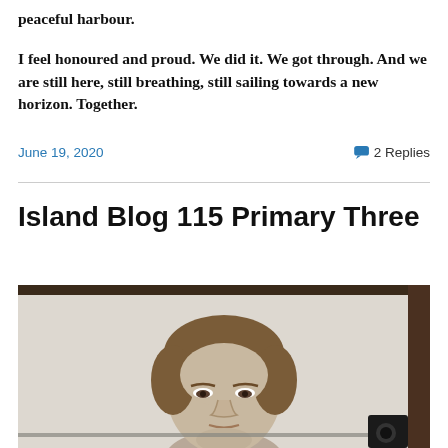peaceful harbour.

I feel honoured and proud. We did it. We got through. And we are still here, still breathing, still sailing towards a new horizon. Together.
June 19, 2020
2 Replies
Island Blog 115 Primary Three
[Figure (photo): Black and white or slightly faded photograph of a young boy with medium-length hair, looking slightly upward, cropped at the shoulders, photographed indoors.]